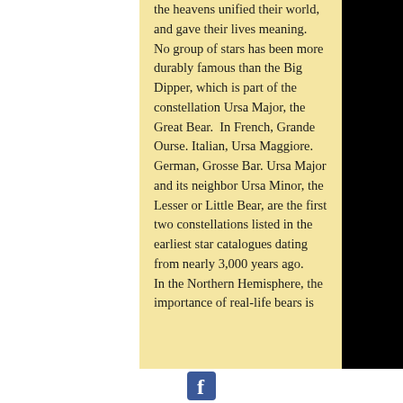the heavens unified their world, and gave their lives meaning.
No group of stars has been more durably famous than the Big Dipper, which is part of the constellation Ursa Major, the Great Bear.  In French, Grande Ourse. Italian, Ursa Maggiore. German, Grosse Bar. Ursa Major and its neighbor Ursa Minor, the Lesser or Little Bear, are the first two constellations listed in the earliest star catalogues dating from nearly 3,000 years ago.
In the Northern Hemisphere, the importance of real-life bears is
[Figure (logo): Facebook logo icon in blue square]